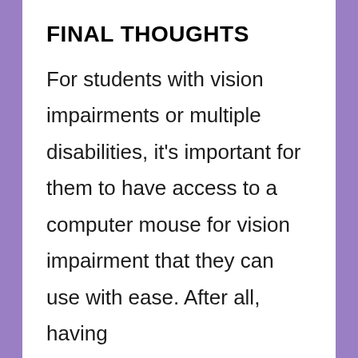FINAL THOUGHTS
For students with vision impairments or multiple disabilities, it's important for them to have access to a computer mouse for vision impairment that they can use with ease. After all, having